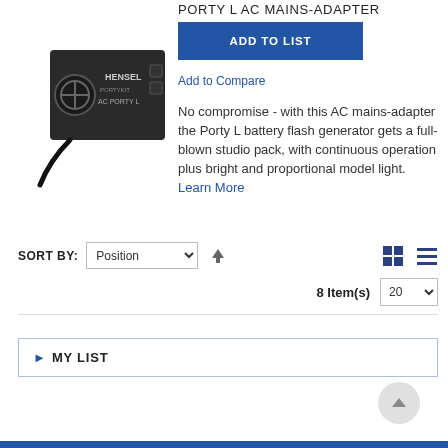PORTY L AC MAINS-ADAPTER
[Figure (photo): Hensel AC Porty L mains-adapter device, black box with fan and cables]
ADD TO LIST
Add to Compare
No compromise - with this AC mains-adapter the Porty L battery flash generator gets a full-blown studio pack, with continuous operation plus bright and proportional model light. Learn More
SORT BY: Position ↑
8 Item(s)  20
MY LIST